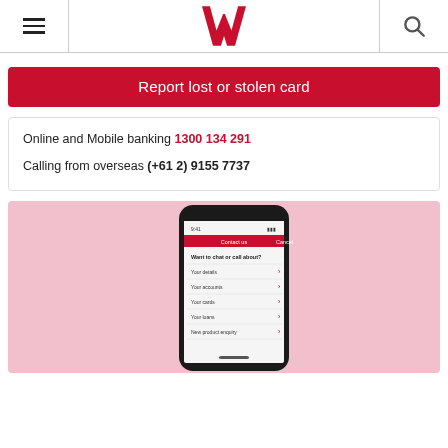Westpac navigation header with hamburger menu and search icon
Report lost or stolen card
Online and Mobile banking 1300 134 291
Calling from overseas (+61 2) 9155 7737
[Figure (screenshot): Westpac mobile app screenshot showing Contact us screen with options: Want to chat or call about? Your details, Your accounts, Your cards, Your loans, New product enquiry]